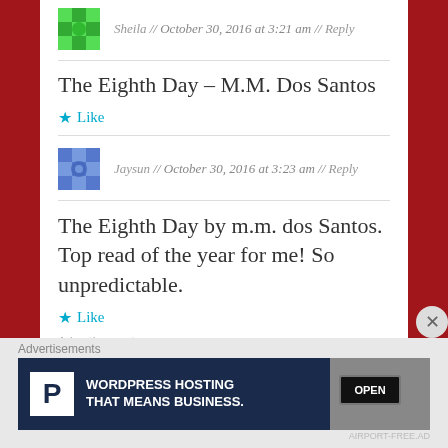Sheila // October 30, 2016 at 3:21 am // Reply
The Eighth Day – M.M. Dos Santos
Like
Jaysun // October 30, 2016 at 3:23 am // Reply
The Eighth Day by m.m. dos Santos. Top read of the year for me! So unpredictable.
Like
Advertisements
Advertisements
[Figure (screenshot): WordPress hosting advertisement banner: dark navy background with white P logo box, text 'WORDPRESS HOSTING THAT MEANS BUSINESS.' and a photo of an OPEN sign]